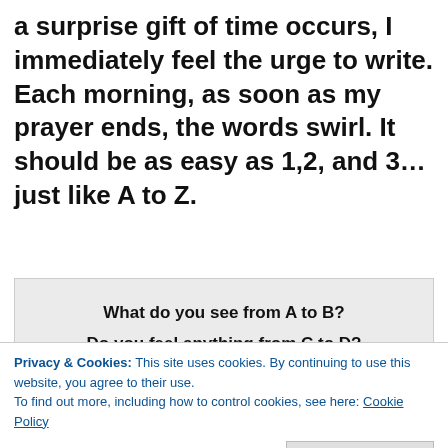a surprise gift of time occurs, I immediately feel the urge to write. Each morning, as soon as my prayer ends, the words swirl. It should be as easy as 1,2, and 3…just like A to Z.
What do you see from A to B?
Do you feel anything from C to D?
Can E and F stir your soul?
Will G and H make you whole?
I and J might not go well,
Then things might change with K and L.
Privacy & Cookies: This site uses cookies. By continuing to use this website, you agree to their use.
To find out more, including how to control cookies, see here: Cookie Policy
Close and accept
At W and X will you plateau?